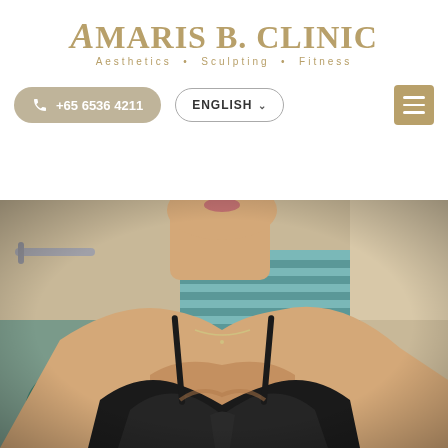[Figure (logo): Amaris B. Clinic logo with tagline 'Aesthetics · Sculpting · Fitness' in gold/tan color]
+65 6536 4211
ENGLISH
[Figure (photo): Woman in black swimwear/bra in a bathroom setting, visible from neck to torso, with teal/striped towels in background]